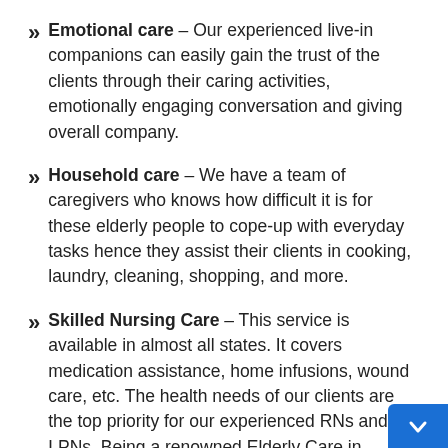Emotional care – Our experienced live-in companions can easily gain the trust of the clients through their caring activities, emotionally engaging conversation and giving overall company.
Household care – We have a team of caregivers who knows how difficult it is for these elderly people to cope-up with everyday tasks hence they assist their clients in cooking, laundry, cleaning, shopping, and more.
Skilled Nursing Care – This service is available in almost all states. It covers medication assistance, home infusions, wound care, etc. The health needs of our clients are the top priority for our experienced RNs and LPNs. Being a renowned Elderly Care in Annapolis